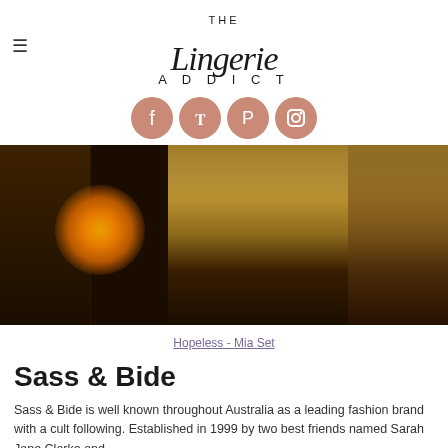THE Lingerie ADDICT
[Figure (photo): Social media icons - Facebook, Twitter, Pinterest, Instagram - salmon/coral colored circular buttons]
[Figure (photo): Dark atmospheric photo of a model wearing black sheer lingerie set (Hopeless - Mia Set), shot in low light with warm orange fire/light in background]
Hopeless - Mia Set
Sass & Bide
Sass & Bide is well known throughout Australia as a leading fashion brand with a cult following. Established in 1999 by two best friends named Sarah Jane Clarke and